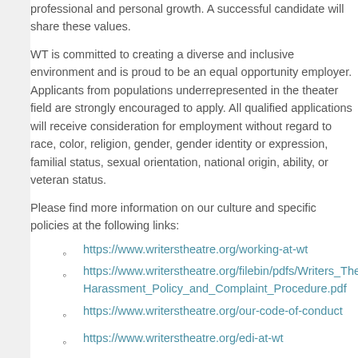professional and personal growth. A successful candidate will share these values.
WT is committed to creating a diverse and inclusive environment and is proud to be an equal opportunity employer. Applicants from populations underrepresented in the theater field are strongly encouraged to apply. All qualified applications will receive consideration for employment without regard to race, color, religion, gender, gender identity or expression, familial status, sexual orientation, national origin, ability, or veteran status.
Please find more information on our culture and specific policies at the following links:
https://www.writerstheatre.org/working-at-wt
https://www.writerstheatre.org/filebin/pdfs/Writers_Theatre_Anti-Harassment_Policy_and_Complaint_Procedure.pdf
https://www.writerstheatre.org/our-code-of-conduct
https://www.writerstheatre.org/edi-at-wt